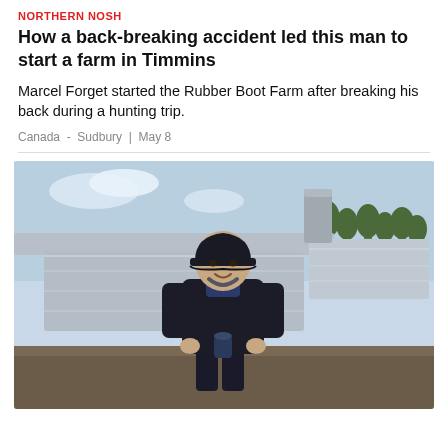NORTHERN NOSH
How a back-breaking accident led this man to start a farm in Timmins
Marcel Forget started the Rubber Boot Farm after breaking his back during a hunting trip.
Canada  -  Sudbury  |  May 8
[Figure (photo): A man wearing a black jacket and black cap standing in front of large stainless steel maple syrup evaporator equipment outdoors, holding a small bottle or jar, smiling at the camera.]